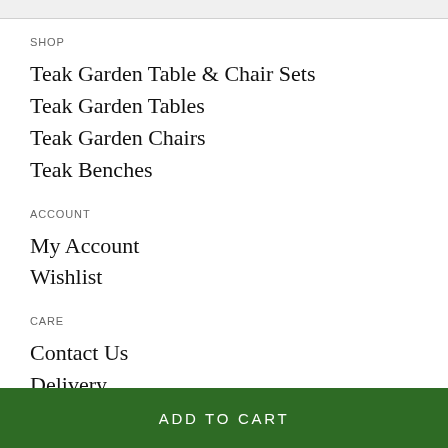SHOP
Teak Garden Table & Chair Sets
Teak Garden Tables
Teak Garden Chairs
Teak Benches
ACCOUNT
My Account
Wishlist
CARE
Contact Us
Delivery
10 Year Guarantee
Terms & Conditions
Teak Care Guide
ADD TO CART